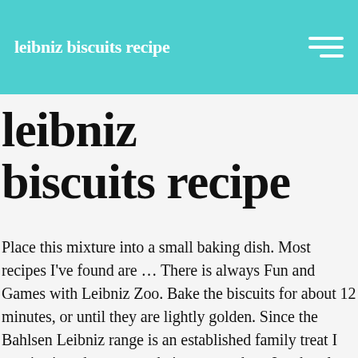leibniz biscuits recipe
leibniz biscuits recipe
Place this mixture into a small baking dish. Most recipes I've found are … There is always Fun and Games with Leibniz Zoo. Bake the biscuits for about 12 minutes, or until they are lightly golden. Since the Bahlsen Leibniz range is an established family treat I was intrigued to try out their new product. In a bowl, mix the eggs with the double cream, sugar, ginger and the CHOCO LEIBNIZ biscuits. • The best cookies to use for the crust are Leibniz European Butter Biscuits, available in gourmet aisles and shops in most places. Method: Preheat the oven to 200˚C/400˚F/Gas Mark